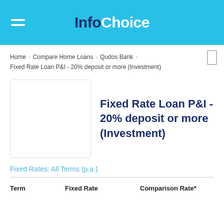InfoChoice
Home › Compare Home Loans › Qudos Bank › Fixed Rate Loan P&I - 20% deposit or more (Investment)
[Figure (logo): Bank logo placeholder box]
Fixed Rate Loan P&I - 20% deposit or more (Investment)
Fixed Rates: All Terms (p.a.)
| Term | Fixed Rate | Comparison Rate* |
| --- | --- | --- |